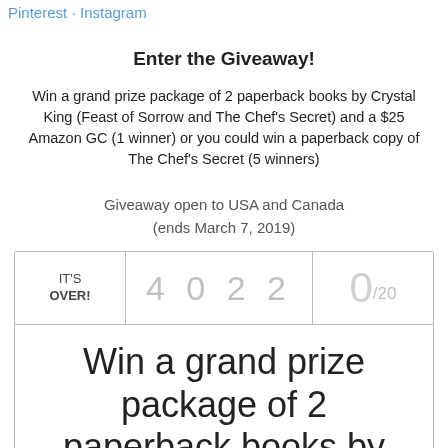Pinterest   Instagram
Enter the Giveaway!
Win a grand prize package of 2 paperback books by Crystal King (Feast of Sorrow and The Chef's Secret) and a $25 Amazon GC (1 winner) or you could win a paperback copy of The Chef's Secret (5 winners)
Giveaway open to USA and Canada (ends March 7, 2019)
| IT'S OVER! | 4022 | 0/20 |
| Win a grand prize package of 2 paperback books by Crystal King (Feast of... |  |  |
Win a grand prize package of 2 paperback books by Crystal King (Feast of